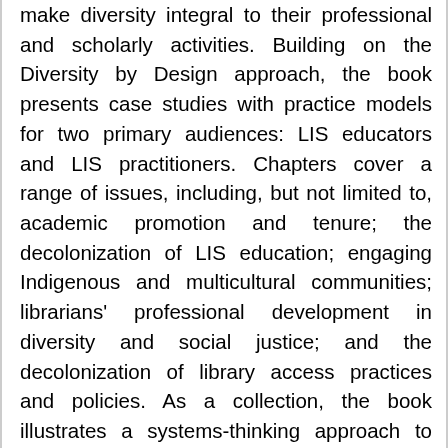make diversity integral to their professional and scholarly activities. Building on the Diversity by Design approach, the book presents case studies with practice models for two primary audiences: LIS educators and LIS practitioners. Chapters cover a range of issues, including, but not limited to, academic promotion and tenure; the decolonization of LIS education; engaging Indigenous and multicultural communities; librarians' professional development in diversity and social justice; and the decolonization of library access practices and policies. As a collection, the book illustrates a systems-thinking approach to fostering diversity and inclusion in LIS, integrating it by design into the LIS curriculum and professional practice. Calling on individuals, organizations, policymakers, and LIS educators to make diversity integral to their daily activities and curriculum, Humanizing LIS